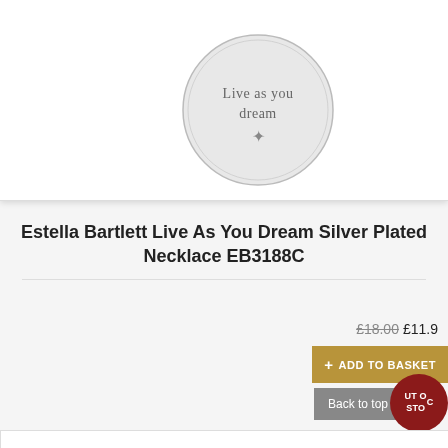[Figure (photo): A silver coin-shaped pendant/necklace charm engraved with the text 'Live as you dream' and a star/sun symbol below it.]
Estella Bartlett Live As You Dream Silver Plated Necklace EB3188C
£18.00 £11.9
+ ADD TO BASKET
Back to top
OUT OF STOCK